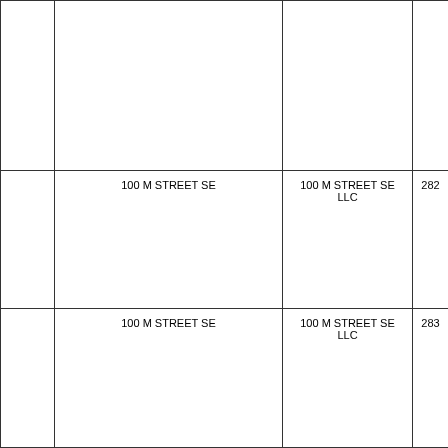|  |  |  |  |
|  | 100 M STREET SE | 100 M STREET SE LLC | 282 |
|  | 100 M STREET SE | 100 M STREET SE LLC | 283 |